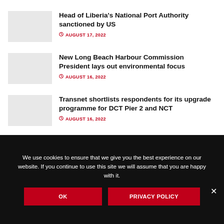Head of Liberia's National Port Authority sanctioned by US — AUGUST 17, 2022
New Long Beach Harbour Commission President lays out environmental focus — AUGUST 16, 2022
Transnet shortlists respondents for its upgrade programme for DCT Pier 2 and NCT — AUGUST 16, 2022
We use cookies to ensure that we give you the best experience on our website. If you continue to use this site we will assume that you are happy with it.